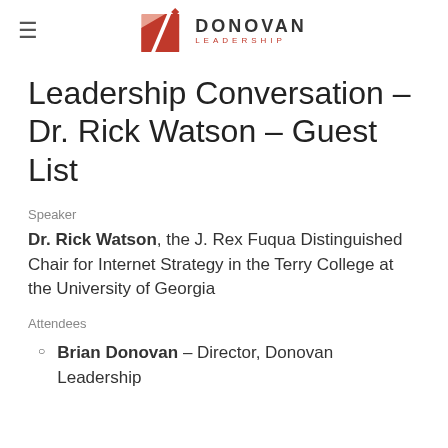Donovan Leadership
Leadership Conversation – Dr. Rick Watson – Guest List
Speaker
Dr. Rick Watson, the J. Rex Fuqua Distinguished Chair for Internet Strategy in the Terry College at the University of Georgia
Attendees
Brian Donovan – Director, Donovan Leadership